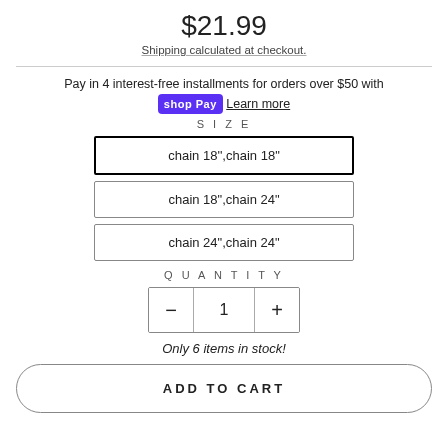$21.99
Shipping calculated at checkout.
Pay in 4 interest-free installments for orders over $50 with shop Pay Learn more
SIZE
chain 18&#39;&#39;,chain 18&quot;
chain 18&quot;,chain 24&quot;
chain 24&quot;,chain 24&quot;
QUANTITY
1
Only 6 items in stock!
ADD TO CART